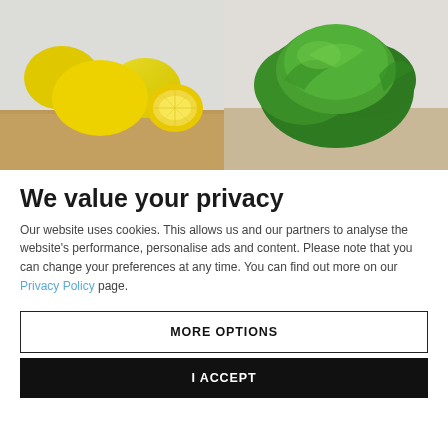[Figure (photo): Two food product photos side by side: left shows yellow lemons on a wooden surface, right shows a head of green lettuce on a light surface.]
We value your privacy
Our website uses cookies. This allows us and our partners to analyse the website's performance, personalise ads and content. Please note that you can change your preferences at any time. You can find out more on our Privacy Policy page.
MORE OPTIONS
I ACCEPT